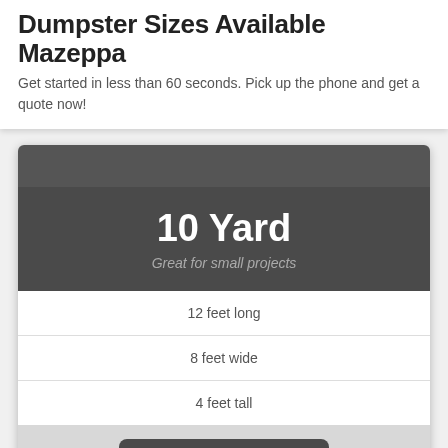Dumpster Sizes Available Mazeppa
Get started in less than 60 seconds. Pick up the phone and get a quote now!
10 Yard
Great for small projects
12 feet long
8 feet wide
4 feet tall
(888) 915-4150